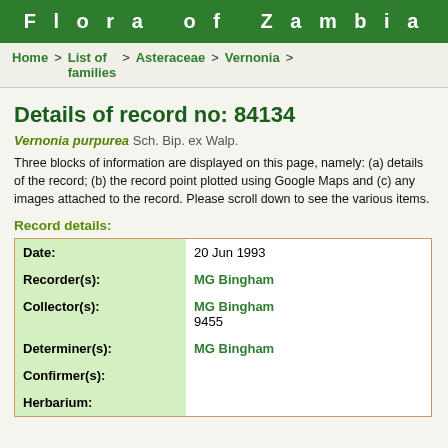Flora of Zambia
Home > List of families > Asteraceae > Vernonia >
Details of record no: 84134
Vernonia purpurea Sch. Bip. ex Walp.
Three blocks of information are displayed on this page, namely: (a) details of the record; (b) the record point plotted using Google Maps and (c) any images attached to the record. Please scroll down to see the various items.
Record details:
| Field | Value |
| --- | --- |
| Date: | 20 Jun 1993 |
| Recorder(s): | MG Bingham |
| Collector(s): | MG Bingham
9455 |
| Determiner(s): | MG Bingham |
| Confirmer(s): |  |
| Herbarium: |  |